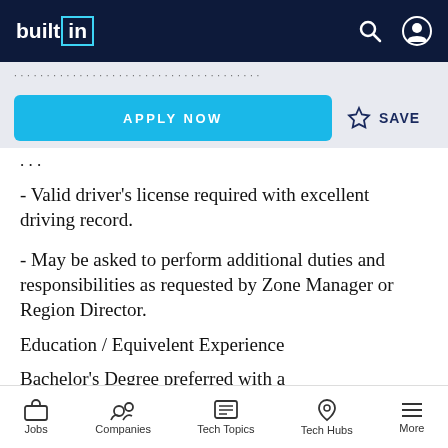builtin
[Figure (screenshot): Apply Now button (cyan) and Save (star icon) action row]
- Valid driver's license required with excellent driving record.
- May be asked to perform additional duties and responsibilities as requested by Zone Manager or Region Director.
Education / Equivelent Experience
Bachelor's Degree preferred with a
Jobs   Companies   Tech Topics   Tech Hubs   More